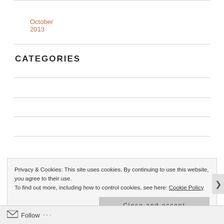October 2013
CATEGORIES
breakfast ideas
food
halloween
lunch ideas
Privacy & Cookies: This site uses cookies. By continuing to use this website, you agree to their use.
To find out more, including how to control cookies, see here: Cookie Policy
Close and accept
Follow